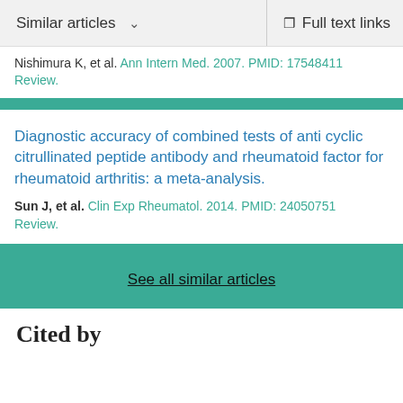Similar articles  ∨    Full text links
Nishimura K, et al. Ann Intern Med. 2007. PMID: 17548411
Review.
Diagnostic accuracy of combined tests of anti cyclic citrullinated peptide antibody and rheumatoid factor for rheumatoid arthritis: a meta-analysis.
Sun J, et al. Clin Exp Rheumatol. 2014. PMID: 24050751
Review.
See all similar articles
Cited by